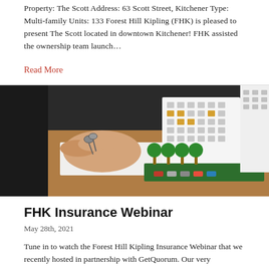Property: The Scott Address: 63 Scott Street, Kitchener Type: Multi-family Units: 133 Forest Hill Kipling (FHK) is pleased to present The Scott located in downtown Kitchener! FHK assisted the ownership team launch...
Read More
[Figure (photo): A person's hand holding keys over a desk, while another hand is using a calculator. A scale model of a multi-story apartment building with miniature trees and cars is visible on the right side, sitting on a green base, placed on a wooden desk surface.]
FHK Insurance Webinar
May 28th, 2021
Tune in to watch the Forest Hill Kipling Insurance Webinar that we recently hosted in partnership with GetQuorum. Our very